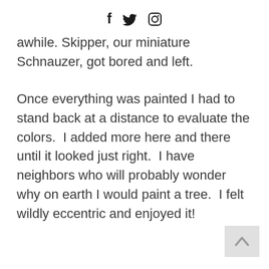f  ʬ  ◎
awhile. Skipper, our miniature Schnauzer, got bored and left.
Once everything was painted I had to stand back at a distance to evaluate the colors.  I added more here and there until it looked just right.  I have neighbors who will probably wonder why on earth I would paint a tree.  I felt wildly eccentric and enjoyed it!